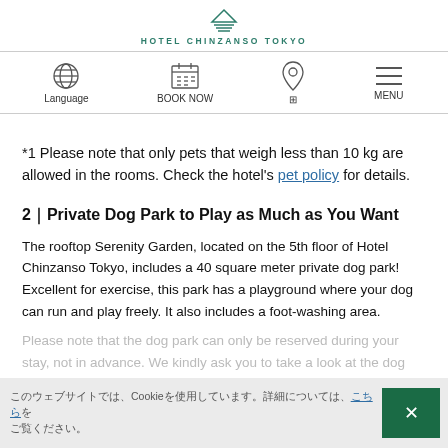Hotel Chinzanso Tokyo
[Figure (screenshot): Navigation bar with Language, BOOK NOW, location, and MENU icons]
*1 Please note that only pets that weigh less than 10 kg are allowed in the rooms. Check the hotel's pet policy for details.
2｜Private Dog Park to Play as Much as You Want
The rooftop Serenity Garden, located on the 5th floor of Hotel Chinzanso Tokyo, includes a 40 square meter private dog park! Excellent for exercise, this park has a playground where your dog can run and play freely. It also includes a foot-washing area.
Please note that the dog park can only be reserved during your stay, not in advance. We kindly ask you to take a look at the dog park policy if you consider using the facility.